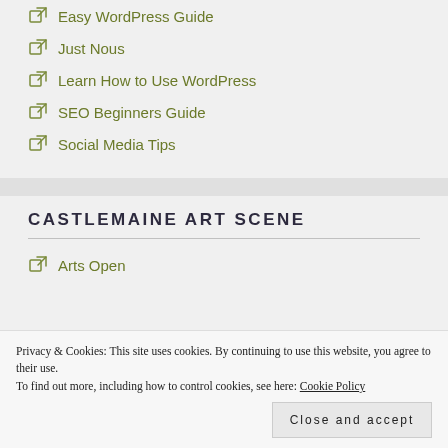Easy WordPress Guide
Just Nous
Learn How to Use WordPress
SEO Beginners Guide
Social Media Tips
CASTLEMAINE ART SCENE
Arts Open
Privacy & Cookies: This site uses cookies. By continuing to use this website, you agree to their use.
To find out more, including how to control cookies, see here: Cookie Policy
Close and accept